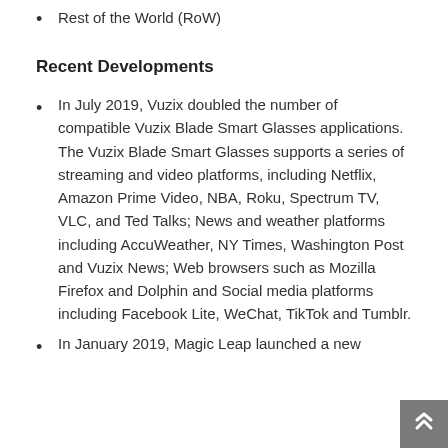Rest of the World (RoW)
Recent Developments
In July 2019, Vuzix doubled the number of compatible Vuzix Blade Smart Glasses applications. The Vuzix Blade Smart Glasses supports a series of streaming and video platforms, including Netflix, Amazon Prime Video, NBA, Roku, Spectrum TV, VLC, and Ted Talks; News and weather platforms including AccuWeather, NY Times, Washington Post and Vuzix News; Web browsers such as Mozilla Firefox and Dolphin and Social media platforms including Facebook Lite, WeChat, TikTok and Tumblr.
In January 2019, Magic Leap launched a new